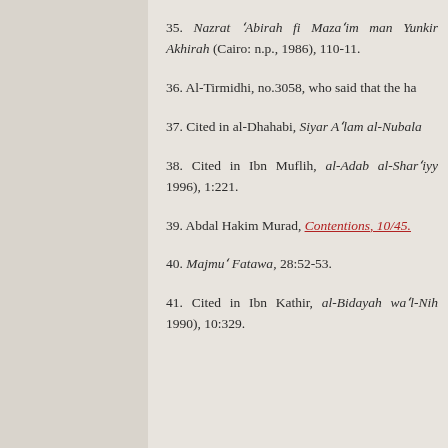35. Nazrat 'Abirah fi Maza'im man Yunkir Akhirah (Cairo: n.p., 1986), 110-11.
36. Al-Tirmidhi, no.3058, who said that the ha
37. Cited in al-Dhahabi, Siyar A'lam al-Nubala
38. Cited in Ibn Muflih, al-Adab al-Shar'iyy 1996), 1:221.
39. Abdal Hakim Murad, Contentions, 10/45.
40. Majmu' Fatawa, 28:52-53.
41. Cited in Ibn Kathir, al-Bidayah wa'l-Nih 1990), 10:329.